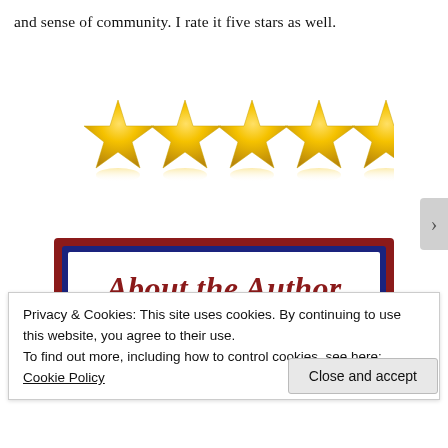and sense of community. I rate it five stars as well.
[Figure (illustration): Five gold stars rating graphic with reflections]
[Figure (illustration): Decorative box with dark red outer border, dark navy blue inner border, white interior containing cursive text 'About the Author' in dark red]
Privacy & Cookies: This site uses cookies. By continuing to use this website, you agree to their use.
To find out more, including how to control cookies, see here: Cookie Policy